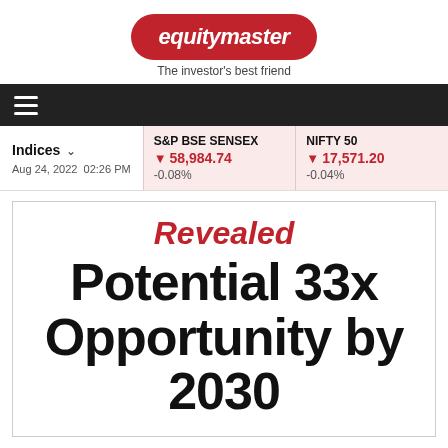[Figure (logo): Equitymaster logo — red rounded pill badge with white italic bold text 'equitymaster', tagline below: 'The investor's best friend']
≡ (navigation hamburger menu bar)
| Indices | S&P BSE SENSEX | NIFTY 50 |
| --- | --- | --- |
| Aug 24, 2022  02:26 PM | ▼ 58,984.74
-0.08% | ▼ 17,571.20
-0.04% |
Revealed
Potential 33x Opportunity by 2030